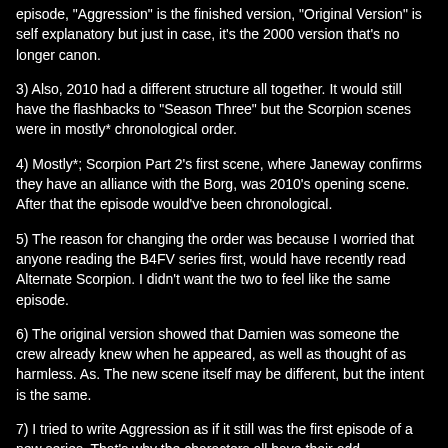episode, "Aggression" is the finished version, "Original Version" is self explanatory but just in case, it's the 2000 version that's no longer canon.
3) Also, 2010 had a different structure all together. It would still have the flashbacks to "Season Three" but the Scorpion scenes were in mostly* chronological order.
4) Mostly*; Scorpion Part 2's first scene, where Janeway confirms they have an alliance with the Borg, was 2010's opening scene. After that the episode would've been chronological.
5) The reason for changing the order was because I worried that anyone reading the B4FV series first, would have recently read Alternate Scorpion. I didn't want the two to feel like the same episode.
6) The original version showed that Damien was someone the crew already knew when he appeared, as well as thought of as harmless. As. The new scene itself may be different, but the intent is the same.
7) I tried to write Aggression as if it still was the first episode of a new series. That's why the characters all have their odd descriptions before they're named.
8) It's also why the first Voyager scene was changed to be the crew evaluations. I thought what better way to introduce